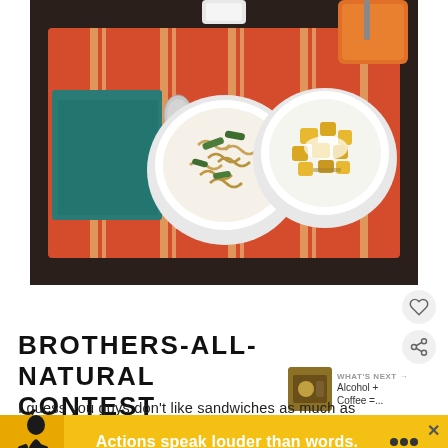[Figure (photo): Overhead view of a red orange striped placemat on a dark wooden table with a teal folded napkin, a silver spoon, a white bowl of rotini pasta with green vegetables, and a white bowl of yellow fruit chunks with toppings, plus an orange cup in the background.]
BROTHERS-ALL-NATURAL CONTEST WINNERS!!!!!!
[Figure (photo): Small thumbnail image of coffee and alcohol drink for 'What's Next' section]
WHAT'S NEXT → Alcohol + Coffee =...
I guess you guys don't like sandwiches as much as yo... o many
[Figure (other): Advertisement banner with yellow background, silhouette of a person, text 'Actions speak louder than words.' with a close button and logo]